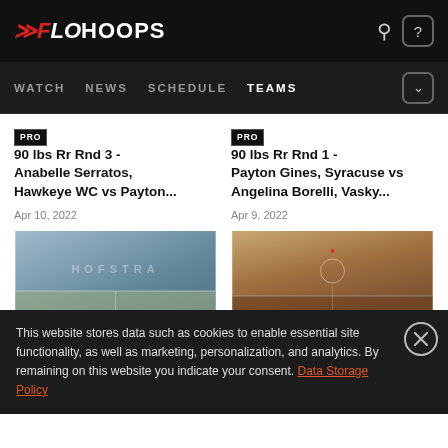FLOHOOPS
WATCH  NEWS  SCHEDULE  TEAMS
PRO 90 lbs Rr Rnd 3 - Anabelle Serratos, Hawkeye WC vs Payton... Apr 10, 2022
PRO 90 lbs Rr Rnd 1 - Payton Gines, Syracuse vs Angelina Borelli, Vasky... Apr 9, 2022
[Figure (photo): Wrestling match thumbnail with Hofstra field court]
[Figure (photo): Wrestling match thumbnail with dirt field]
This website stores data such as cookies to enable essential site functionality, as well as marketing, personalization, and analytics. By remaining on this website you indicate your consent. Data Storage Policy